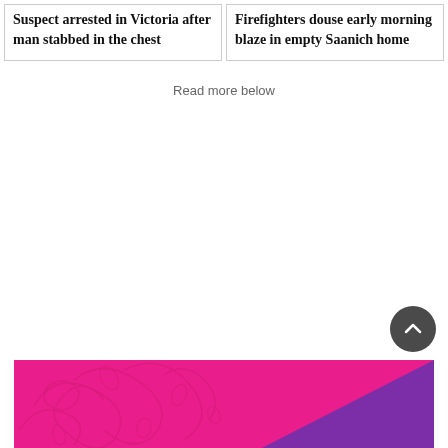Suspect arrested in Victoria after man stabbed in the chest
Firefighters douse early morning blaze in empty Saanich home
Read more below
[Figure (illustration): Decorative banner with pink floral swirl pattern on the left and purple diagonal section on the right]